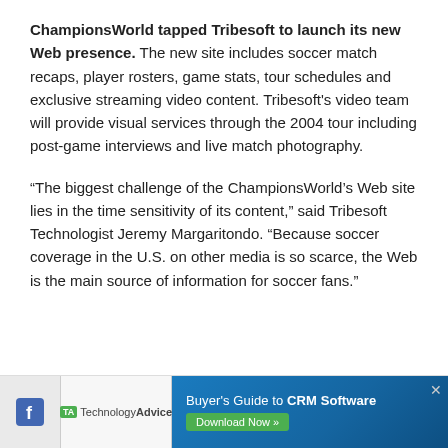ChampionsWorld tapped Tribesoft to launch its new Web presence. The new site includes soccer match recaps, player rosters, game stats, tour schedules and exclusive streaming video content. Tribesoft's video team will provide visual services through the 2004 tour including post-game interviews and live match photography.
“The biggest challenge of the ChampionsWorld’s Web site lies in the time sensitivity of its content,” said Tribesoft Technologist Jeremy Margaritondo. “Because soccer coverage in the U.S. on other media is so scarce, the Web is the main source of information for soccer fans.”
[Figure (infographic): Advertisement banner with Facebook icon, TechnologyAdvice logo, and a blue CRM Software Buyer's Guide ad with a green Download Now button and a close X button]